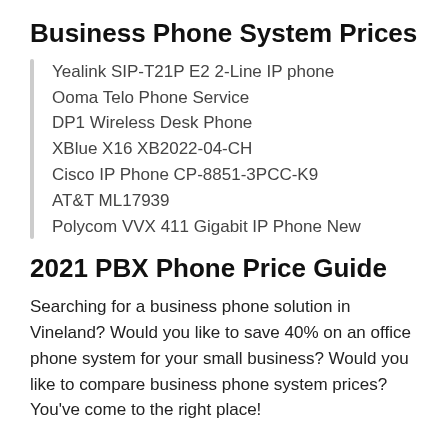Business Phone System Prices
Yealink SIP-T21P E2 2-Line IP phone
Ooma Telo Phone Service
DP1 Wireless Desk Phone
XBlue X16 XB2022-04-CH
Cisco IP Phone CP-8851-3PCC-K9
AT&T ML17939
Polycom VVX 411 Gigabit IP Phone New
2021 PBX Phone Price Guide
Searching for a business phone solution in Vineland? Would you like to save 40% on an office phone system for your small business? Would you like to compare business phone system prices? You've come to the right place!